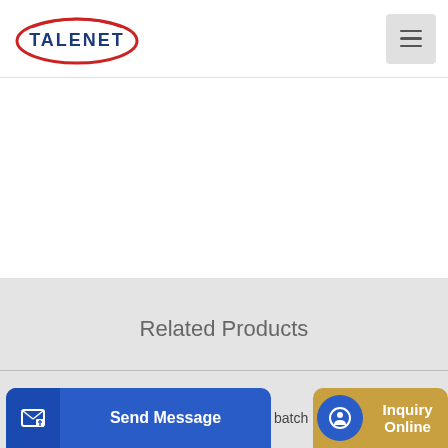TALENET
Related Products
Cost Of Concrete Pumping Truck Articles from 2021
concrete mixer suppliers manufacturers exporters contact us
batch
Send Message | Inquiry Online